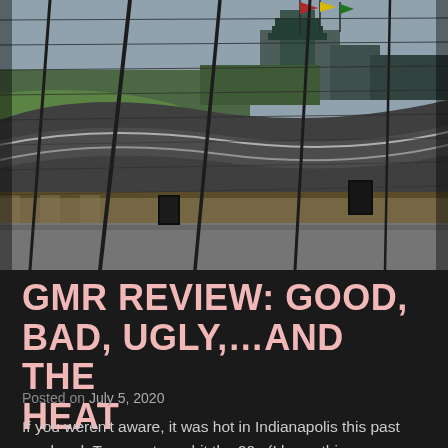[Figure (photo): Aerial/ground-level view of Indianapolis Motor Speedway race track with chain-link fence in foreground, pit lane barrier, and the iconic pagoda tower visible in the background. Green grass infield, dark asphalt track surface, flags flying at top.]
GMR REVIEW: GOOD, BAD, UGLY,…AND THE HEAT
Posted on July 5, 2020
If you weren't aware, it was hot in Indianapolis this past weekend. Temperatures hit the 90s (I know this